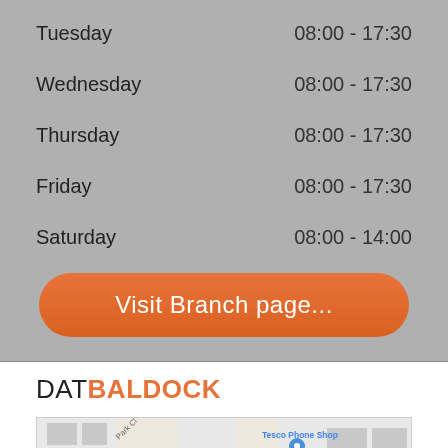Tuesday    08:00 - 17:30
Wednesday  08:00 - 17:30
Thursday   08:00 - 17:30
Friday     08:00 - 17:30
Saturday   08:00 - 14:00
Visit Branch page...
DATBALDOCK
[Figure (map): Street map showing Tesco Phone Shop, MoneyGram, Tesco filling station, Widenoble Services, Park Cl, Holloyd Cres, St. Augustine Roman area]